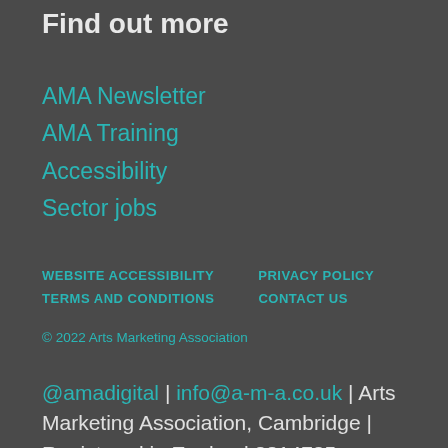Find out more
AMA Newsletter
AMA Training
Accessibility
Sector jobs
WEBSITE ACCESSIBILITY   PRIVACY POLICY   TERMS AND CONDITIONS   CONTACT US
© 2022 Arts Marketing Association
@amadigital | info@a-m-a.co.uk | Arts Marketing Association, Cambridge | Registered in England 2814725